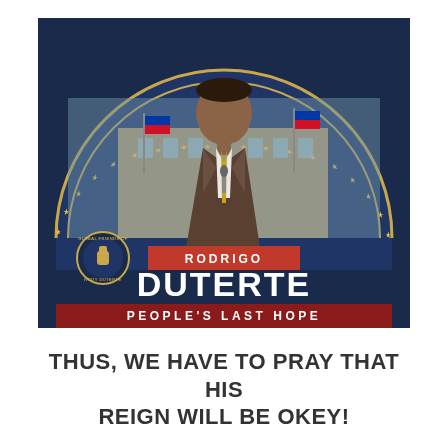[Figure (illustration): Political campaign-style poster for Rodrigo Duterte. Features a dark navy blue background with a large semicircular arch decorated with gold stars. In the center is a photo of Rodrigo Duterte in a suit and gold tie, standing before a building with Philippine flags. On the lower left is a circular logo reading 'Global Friends of Rody Duterte'. A red banner with white text reads 'RODRIGO' above large white block letters 'DUTERTE' and below that 'PEOPLE'S LAST HOPE' in white letters on a dark red/maroon bottom band.]
THUS, WE HAVE TO PRAY THAT HIS REIGN WILL BE OKEY!